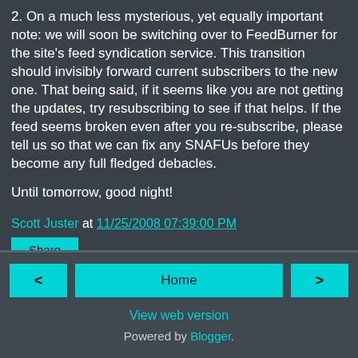2. On a much less mysterious, yet equally important note: we will soon be switching over to FeedBurner for the site's feed syndication service. This transition should invisibly forward current subscribers to the new one. That being said, if it seems like you are not getting the updates, try resubscribing to see if that helps. If the feed seems broken even after you re-subscribe, please tell us so that we can fix any SNAFUs before they become any full fledged debacles.
Until tomorrow, good night!
Scott Juster at 11/25/2008 07:39:00 PM
Share
< Home > View web version Powered by Blogger.